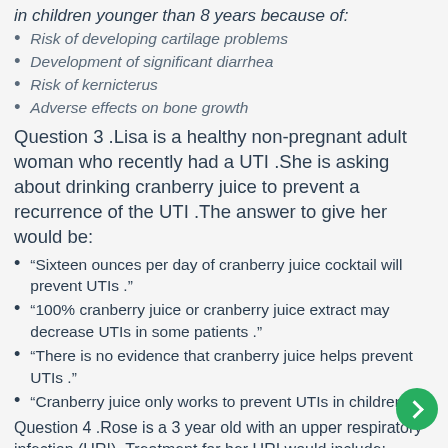in children younger than 8 years because of:
Risk of developing cartilage problems
Development of significant diarrhea
Risk of kernicterus
Adverse effects on bone growth
Question 3 .Lisa is a healthy non-pregnant adult woman who recently had a UTI .She is asking about drinking cranberry juice to prevent a recurrence of the UTI .The answer to give her would be:
“Sixteen ounces per day of cranberry juice cocktail will prevent UTIs .”
“100% cranberry juice or cranberry juice extract may decrease UTIs in some patients .”
“There is no evidence that cranberry juice helps prevent UTIs .”
“Cranberry juice only works to prevent UTIs in children .”
Question 4 .Rose is a 3 year old with an upper respiratory infection (URI) .Treatment for her URI would include:
Amoxicillin